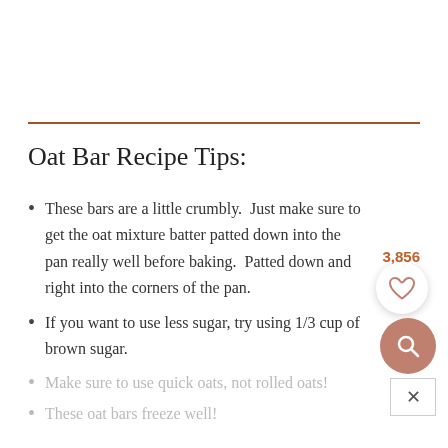Oat Bar Recipe Tips:
These bars are a little crumbly.  Just make sure to get the oat mixture batter patted down into the pan really well before baking.  Patted down and right into the corners of the pan.
If you want to use less sugar, try using 1/3 cup of brown sugar.
Make sure to use quick oats, not rolled oats!
These oat bars freeze well!